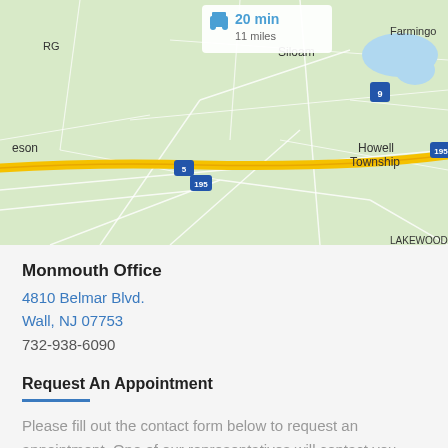[Figure (map): Google Maps view showing road map of Howell Township area in New Jersey, with I-195 highway highlighted in yellow/gold, showing locations including Siloam, Cassville, Howell Township, and Farmingdale. A driving time indicator shows 20 min / 11 miles.]
Monmouth Office
4810 Belmar Blvd.
Wall, NJ 07753
732-938-6090
Request An Appointment
Please fill out the contact form below to request an appointment. One of our representatives will contact you shortly.